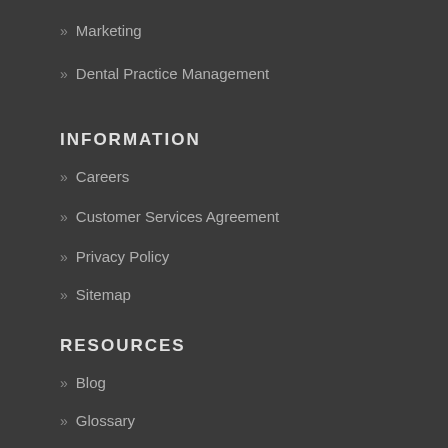Marketing
Dental Practice Management
INFORMATION
Careers
Customer Services Agreement
Privacy Policy
Sitemap
RESOURCES
Blog
Glossary
Manage Phone System
Infographics